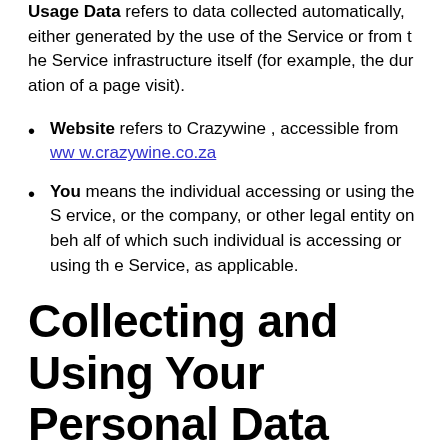Usage Data refers to data collected automatically, either generated by the use of the Service or from the Service infrastructure itself (for example, the duration of a page visit).
Website refers to Crazywine , accessible from www.crazywine.co.za
You means the individual accessing or using the Service, or the company, or other legal entity on behalf of which such individual is accessing or using the Service, as applicable.
Collecting and Using Your Personal Data